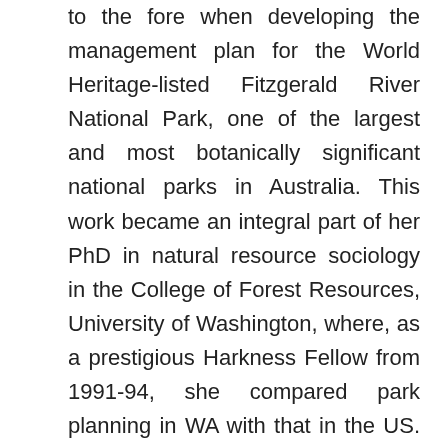to the fore when developing the management plan for the World Heritage-listed Fitzgerald River National Park, one of the largest and most botanically significant national parks in Australia. This work became an integral part of her PhD in natural resource sociology in the College of Forest Resources, University of Washington, where, as a prestigious Harkness Fellow from 1991-94, she compared park planning in WA with that in the US. Her research was also supported by a CALM Executive Director's scholarship, the United States Department of Agriculture (Forest Service) Pacific Northwest Research Station at Portland, Oregon and the Commonwealth